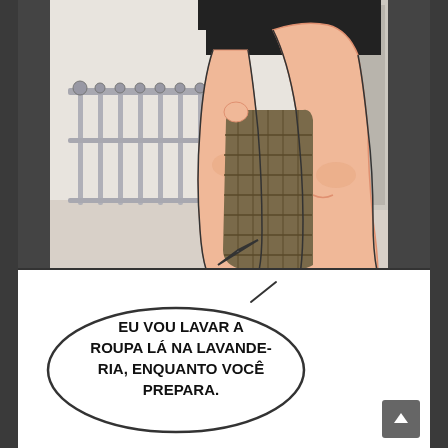[Figure (illustration): Manga/comic style illustration showing the lower body and legs of a person wearing black shorts, holding a large woven laundry basket. A balcony railing with decorative metalwork is visible in the background.]
EU VOU LAVAR A ROUPA LÁ NA LAVANDE-RIA, ENQUANTO VOCÊ PREPARA.